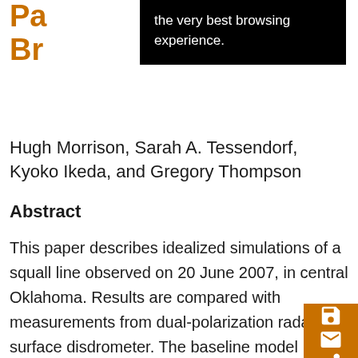Pa... Br...
the very best browsing experience.
Hugh Morrison, Sarah A. Tessendorf, Kyoko Ikeda, and Gregory Thompson
Abstract
This paper describes idealized simulations of a squall line observed on 20 June 2007, in central Oklahoma. Results are compared with measurements from dual-polarization radar and surface disdrometer. The baseline model configuration qualitatively reproduces key storm features, but underpredicts precipitation rates and generally overpredicts median volume raindrop diameter. The sensitivity of model simulations to parameterization of raindrop